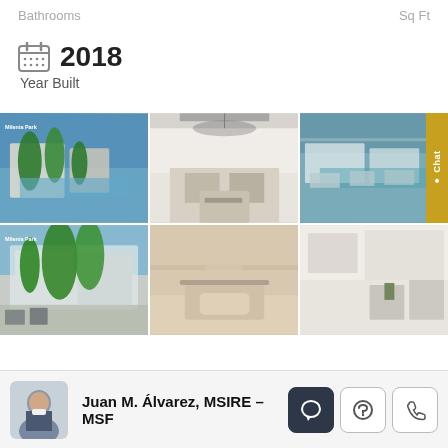Bathrooms
Sq Ft
2018
Year Built
[Figure (photo): Grid of 6 real estate photos of Milenia Park property including pool area, interior dining/living room, aerial view, street view with palms, bedroom, and kitchen/dining area]
Juan M. Álvarez, MSIRE – MSF